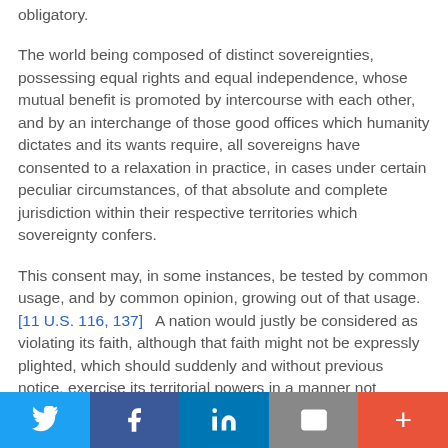obligatory.
The world being composed of distinct sovereignties, possessing equal rights and equal independence, whose mutual benefit is promoted by intercourse with each other, and by an interchange of those good offices which humanity dictates and its wants require, all sovereigns have consented to a relaxation in practice, in cases under certain peculiar circumstances, of that absolute and complete jurisdiction within their respective territories which sovereignty confers.
This consent may, in some instances, be tested by common usage, and by common opinion, growing out of that usage. [11 U.S. 116, 137]   A nation would justly be considered as violating its faith, although that faith might not be expressly plighted, which should suddenly and without previous notice, exercise its territorial powers in a manner not consonant to the usages and received obligations of the civilized world.
Twitter | Facebook | LinkedIn | Email | +